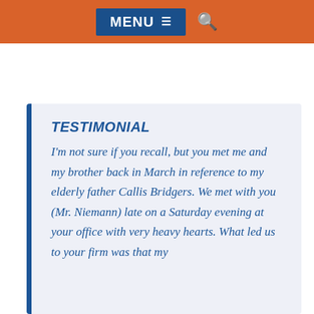for ensuring quality care for your loved one down the road.
MENU
TESTIMONIAL
I'm not sure if you recall, but you met me and my brother back in March in reference to my elderly father Callis Bridgers.  We met with you (Mr. Niemann) late on a Saturday evening at your office with very heavy hearts.  What led us to your firm was that my